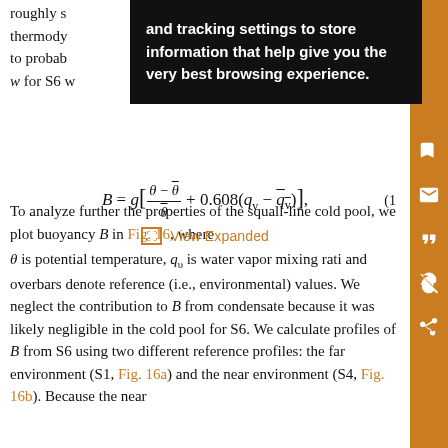roughly s… thermody… to probab… imum w for S6 w…
and tracking settings to store information that help give you the very best browsing experience.
To analyze further the properties of the squall-line cold pool, we plot buoyancy B in Fig. 16, where
View Expanded
θ is potential temperature, q_v is water vapor mixing rati and overbars denote reference (i.e., environmental) values. We neglect the contribution to B from condensate because it was likely negligible in the cold pool for S6. We calculate profiles of B from S6 using two different reference profiles: the far environment (S1, Fig. 16a) and the near environment (S4, Fig. 16b). Because the near